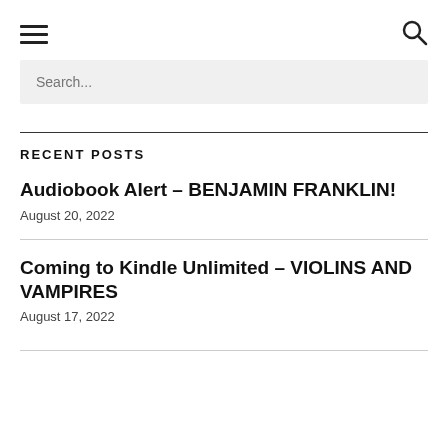[hamburger menu icon] [search icon]
Search...
RECENT POSTS
Audiobook Alert – BENJAMIN FRANKLIN!
August 20, 2022
Coming to Kindle Unlimited – VIOLINS AND VAMPIRES
August 17, 2022